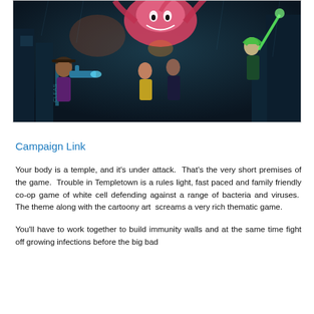[Figure (illustration): Colorful cartoon/illustrated artwork showing characters with weapons fighting a large monster/creature in a dark cityscape. Characters include a man in a hat with a futuristic gun on the left, a woman in the center, a man in dark clothes, and a woman with green hair on the right. A large pink/red creature with tentacles looms above them against a neon-lit urban background.]
Campaign Link
Your body is a temple, and it's under attack.  That's the very short premises of the game.  Trouble in Templetown is a rules light, fast paced and family friendly co-op game of white cell defending against a range of bacteria and viruses.  The theme along with the cartoony art  screams a very rich thematic game.
You'll have to work together to build immunity walls and at the same time fight off growing infections before the big bad